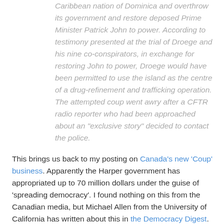Caribbean nation of Dominica and overthrow its government and restore deposed Prime Minister Patrick John to power. According to testimony presented at the trial of Droege and his nine co-conspirators, in exchange for restoring John to power, Droege would have been permitted to use the island as the centre of a drug-refinement and trafficking operation. The attempted coup went awry after a CFTR radio reporter who had been approached about an "exclusive story" decided to contact the police.
This brings us back to my posting on Canada's new 'Coup' business. Apparently the Harper government has appropriated up to 70 million dollars under the guise of 'spreading democracy'. I found nothing on this from the Canadian media, but Michael Allen from the University of California has written about this in the Democracy Digest.
And Dr. Chin believes that Harper is actually trying to fulfill the agenda of the Northern Foundation. Whether that's true or not, it's definitely something we can't just wave off: